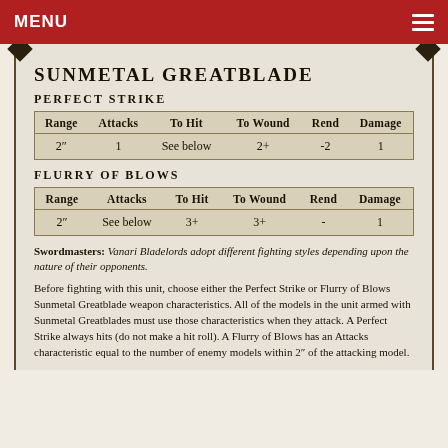MENU
SUNMETAL GREATBLADE
PERFECT STRIKE
| Range | Attacks | To Hit | To Wound | Rend | Damage |
| --- | --- | --- | --- | --- | --- |
| 2″ | 1 | See below | 2+ | -2 | 1 |
FLURRY OF BLOWS
| Range | Attacks | To Hit | To Wound | Rend | Damage |
| --- | --- | --- | --- | --- | --- |
| 2″ | See below | 3+ | 3+ | - | 1 |
Swordmasters: Vanari Bladelords adopt different fighting styles depending upon the nature of their opponents.
Before fighting with this unit, choose either the Perfect Strike or Flurry of Blows Sunmetal Greatblade weapon characteristics. All of the models in the unit armed with Sunmetal Greatblades must use those characteristics when they attack. A Perfect Strike always hits (do not make a hit roll). A Flurry of Blows has an Attacks characteristic equal to the number of enemy models within 2″ of the attacking model.